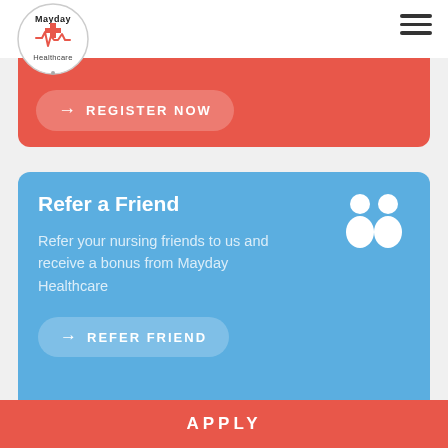Mayday Healthcare
[Figure (logo): Mayday Healthcare circular logo with red cross and heartbeat line]
REGISTER NOW
Refer a Friend
Refer your nursing friends to us and receive a bonus from Mayday Healthcare
REFER FRIEND
Nurse Job Creator
APPLY